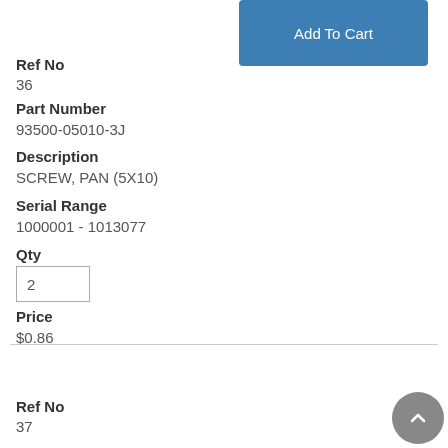Add To Cart
Ref No
36
Part Number
93500-05010-3J
Description
SCREW, PAN (5X10)
Serial Range
1000001 - 1013077
Qty
2
Price
$0.86
Add To Cart
Ref No
37
Part Number
93500-06012-3J